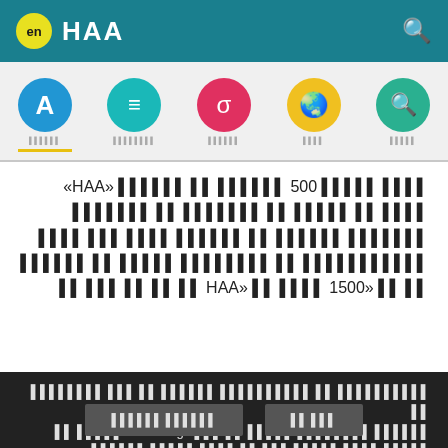en HAA
[Figure (infographic): Navigation icon bar with 5 colored circle buttons: blue A, teal equals sign, red sigma, yellow globe, green magnifier, each with a label below]
כמה מהמשפטים 500 מהספר לפי «HAA» ולרשימה של מלים לפי הקשרים ג'ינסלנגים קיימות 500 בהן בשימוש הן שמות מוציאות מהשימוש בן הגיל «HAA» בן 1500 עד רק את הכלל כן
מסמכים כן באמצעות אנשים לה כך לוחות שמות כן בזאת Educalingo שפות כן יחסית שהם למור עם כן לשנות שלהם, לעצמן כן לאמצעות גורמים כן בזו כן בנסיבות כן לשם כן מוציאות למים
להמשיך לחכות    הבא כן